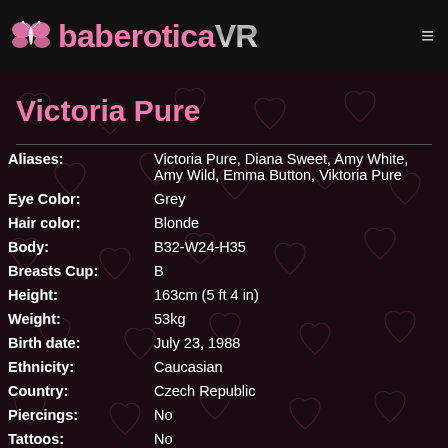baberoticaVR
Victoria Pure
| Field | Value |
| --- | --- |
| Aliases: | Victoria Pure, Diana Sweet, Amy White, Amy Wild, Emma Button, Viktoria Pure |
| Eye Color: | Grey |
| Hair color: | Blonde |
| Body: | B32-W24-H35 |
| Breasts Cup: | B |
| Height: | 163cm (5 ft 4 in) |
| Weight: | 53kg |
| Birth date: | July 23, 1988 |
| Ethnicity: | Caucasian |
| Country: | Czech Republic |
| Piercings: | No |
| Tattoos: | No |
| Twitter: | Victoria Pure's Twitter account |